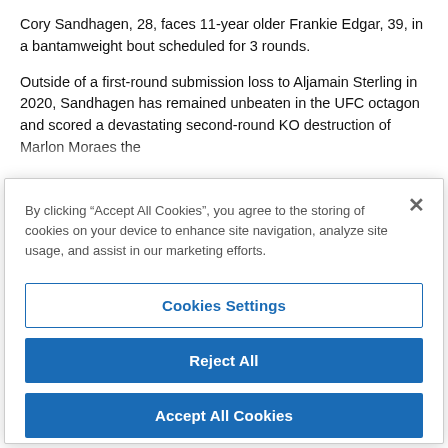Cory Sandhagen, 28, faces 11-year older Frankie Edgar, 39, in a bantamweight bout scheduled for 3 rounds.
Outside of a first-round submission loss to Aljamain Sterling in 2020, Sandhagen has remained unbeaten in the UFC octagon and scored a devastating second-round KO destruction of Marlon Moraes the
By clicking “Accept All Cookies”, you agree to the storing of cookies on your device to enhance site navigation, analyze site usage, and assist in our marketing efforts.
Cookies Settings
Reject All
Accept All Cookies